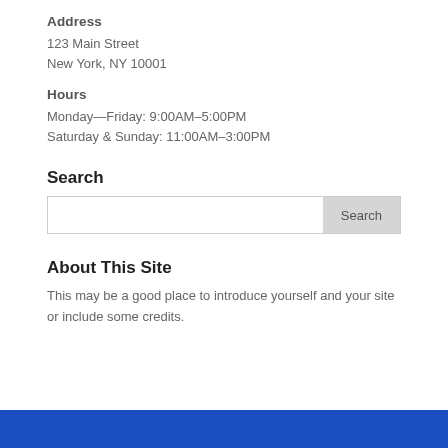Address
123 Main Street
New York, NY 10001
Hours
Monday—Friday: 9:00AM–5:00PM
Saturday & Sunday: 11:00AM–3:00PM
Search
[Figure (other): Search input box with a Search button]
About This Site
This may be a good place to introduce yourself and your site or include some credits.